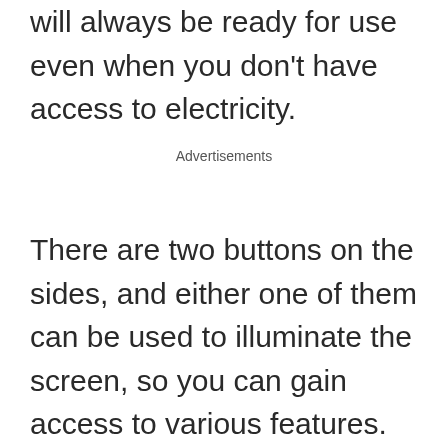will always be ready for use even when you don't have access to electricity.
Advertisements
There are two buttons on the sides, and either one of them can be used to illuminate the screen, so you can gain access to various features. The left one acts as a back or Home button that stops the current activity and takes you back to the main menu. You can